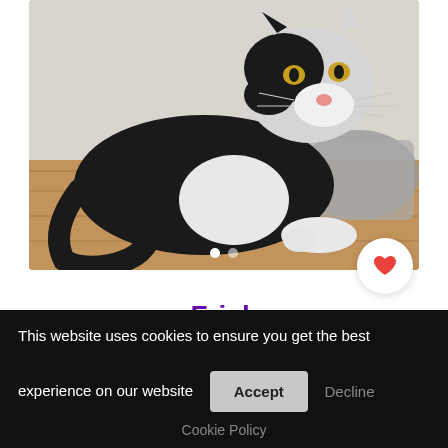[Figure (photo): A black and white domestic short hair cat lying on a wooden floor, looking directly at the camera with yellow eyes. A grey cat bed or cushion is visible in the background.]
Frick
Young • Domestic Short Hair Mix
Image credits: petfindernames
This website uses cookies to ensure you get the best experience on our website   Accept   Decline
Cookie Policy